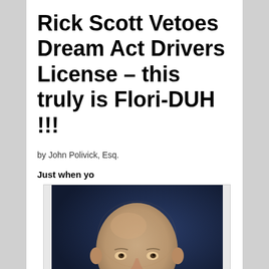Rick Scott Vetoes Dream Act Drivers License – this truly is Flori-DUH !!!
by John Polivick, Esq.
Just when yo
[Figure (photo): Close-up portrait photograph of a bald man against a dark blue background, appearing to be Rick Scott]